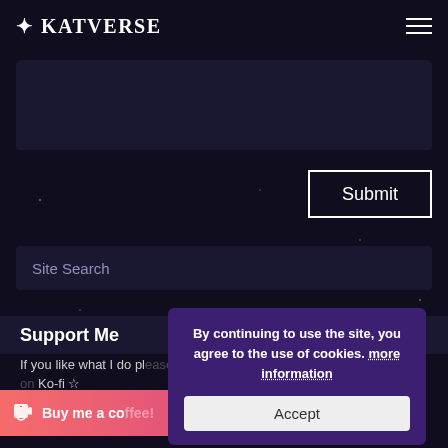KATVERSE
[Figure (screenshot): Dark-themed textarea input box for a web form]
Submit
Site Search
Support Me
If you like what I do please support me on Ko-fi ☆
[Figure (screenshot): Buy me a coffee button in coral/pink color with cup icon]
By continuing to use the site, you agree to the use of cookies. more information
Accept